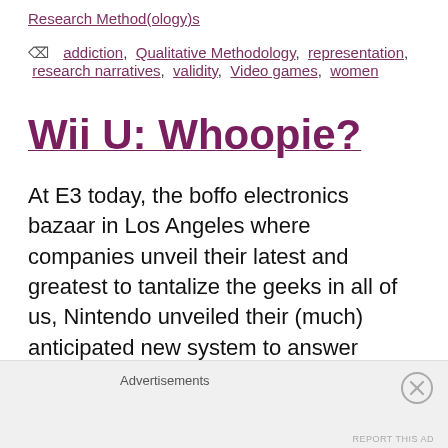Research Method(ology)s
addiction, Qualitative Methodology, representation, research narratives, validity, Video games, women
Wii U: Whoopie?
At E3 today, the boffo electronics bazaar in Los Angeles where companies unveil their latest and greatest to tantalize the geeks in all of us, Nintendo unveiled their (much) anticipated new system to answer PlayStation 3's Move and X-
Advertisements